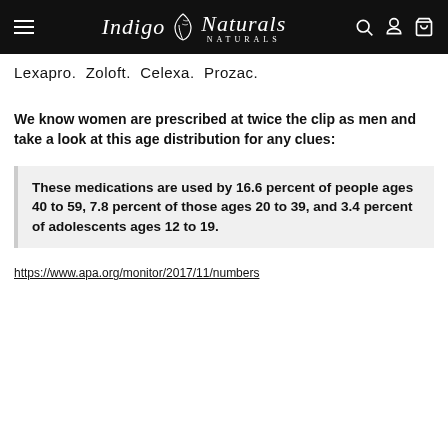Indigo Naturals
Lexapro.  Zoloft.  Celexa.  Prozac.
We know women are prescribed at twice the clip as men and take a look at this age distribution for any clues:
These medications are used by 16.6 percent of people ages 40 to 59, 7.8 percent of those ages 20 to 39, and 3.4 percent of adolescents ages 12 to 19.
https://www.apa.org/monitor/2017/11/numbers